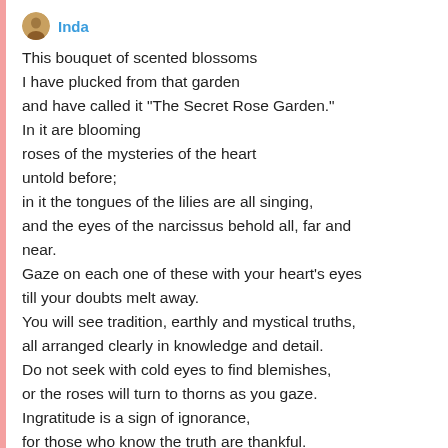Inda
This bouquet of scented blossoms
I have plucked from that garden
and have called it "The Secret Rose Garden."
In it are blooming
roses of the mysteries of the heart
untold before;
in it the tongues of the lilies are all singing,
and the eyes of the narcissus behold all, far and near.
Gaze on each one of these with your heart's eyes
till your doubts melt away.
You will see tradition, earthly and mystical truths,
all arranged clearly in knowledge and detail.
Do not seek with cold eyes to find blemishes,
or the roses will turn to thorns as you gaze.
Ingratitude is a sign of ignorance,
for those who know the truth are thankful.